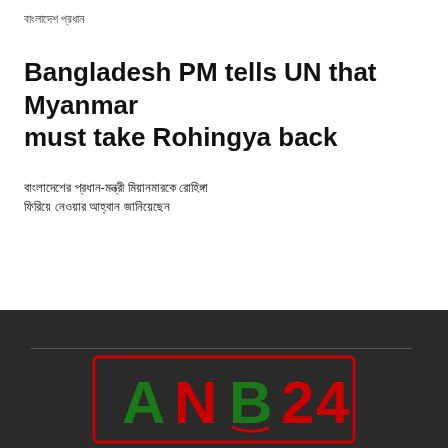বাংলাদেশ প্রধান
Bangladesh PM tells UN that Myanmar must take Rohingya back
বাংলাদেশের প্রধান-মন্ত্রী মিয়ানমারকে রোহিঙ্গা ফিরিয়ে নেওয়ার আহ্বান জানিয়েছেন
[Figure (logo): ANB24 logo with green and red letters on dark background]